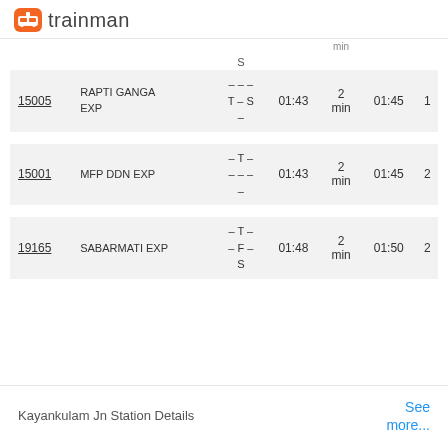trainman
|  |  |  |  | min |  |  |
| --- | --- | --- | --- | --- | --- | --- |
|  |  | S |  |  |  |  |
| 15005 | RAPTI GANGA EXP | - - - T - S - | 01:43 | 2 min | 01:45 | 1 |
| 15001 | MFP DDN EXP | - T - - - - - | 01:43 | 2 min | 01:45 | 2 |
| 19165 | SABARMATI EXP | - T - - F - S | 01:48 | 2 min | 01:50 | 2 |
Kayankulam Jn Station Details
See more...